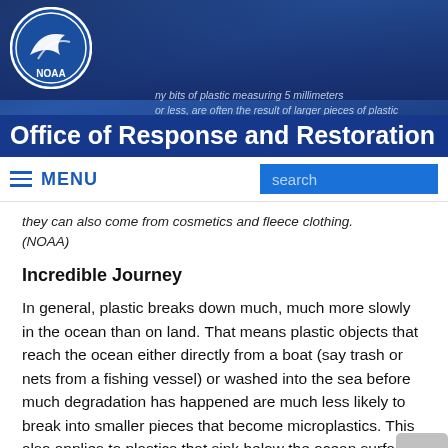[Figure (logo): NOAA logo — circular blue emblem with white bird and text NOAA]
Office of Response and Restoration
tiny bits of plastic measuring 5 millimeters or less, are often the result of larger pieces of plastic
MENU  search
they can also come from cosmetics and fleece clothing. (NOAA)
Incredible Journey
In general, plastic breaks down much, much more slowly in the ocean than on land. That means plastic objects that reach the ocean either directly from a boat (say trash or nets from a fishing vessel) or washed into the sea before much degradation has happened are much less likely to break into smaller pieces that become microplastics. This also applies to plastics that sink below the ocean surface into the